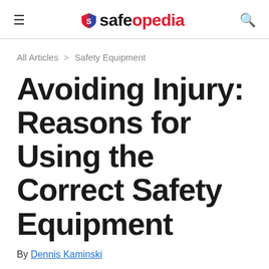≡  safeopedia  🔍
All Articles > Safety Equipment
Avoiding Injury: Reasons for Using the Correct Safety Equipment
By Dennis Kaminski